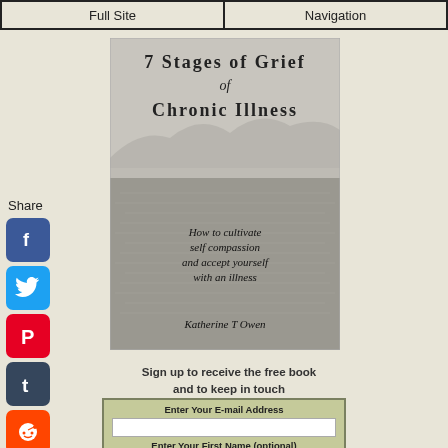Full Site | Navigation
[Figure (illustration): Book cover for '7 Stages of Grief of Chronic Illness' by Katherine T Owen. Shows a serene lake or sea with mountains in the background in grayscale. Text reads: 'How to cultivate self compassion and accept yourself with an illness'. Author: Katherine T Owen.]
Share
Sign up to receive the free book and to keep in touch
Enter Your E-mail Address
Enter Your First Name (optional)